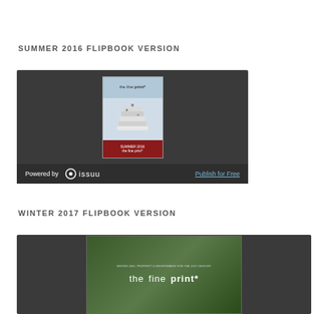SUMMER 2016 FLIPBOOK VERSION
[Figure (screenshot): Embedded Issuu flipbook viewer showing the Summer 2016 edition of 'the fine print*' magazine cover, with stacked books imagery and a red bottom bar. Footer shows 'Powered by issuu' and 'Publish for Free' link.]
WINTER 2017 FLIPBOOK VERSION
[Figure (screenshot): Embedded Issuu flipbook viewer showing the Winter 2017 edition of 'the fine print*' magazine cover with forest/tree background and large white text.]